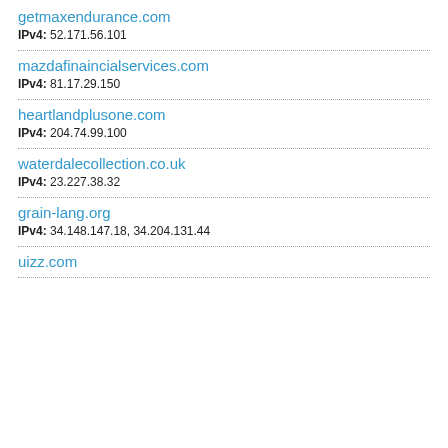getmaxendurance.com — IPv4: 52.171.56.101
mazdafinaincialservices.com — IPv4: 81.17.29.150
heartlandplusone.com — IPv4: 204.74.99.100
waterdalecollection.co.uk — IPv4: 23.227.38.32
grain-lang.org — IPv4: 34.148.147.18, 34.204.131.44
uizz.com